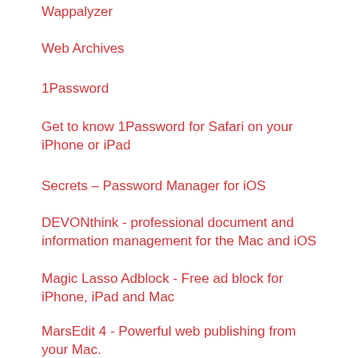Wappalyzer
Web Archives
1Password
Get to know 1Password for Safari on your iPhone or iPad
Secrets – Password Manager for iOS
DEVONthink - professional document and information management for the Mac and iOS
Magic Lasso Adblock - Free ad block for iPhone, iPad and Mac
MarsEdit 4 - Powerful web publishing from your Mac.
NetNewsWire - Free and Open Source RSS